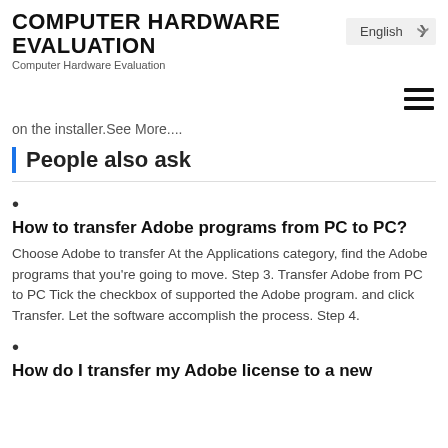COMPUTER HARDWARE EVALUATION
Computer Hardware Evaluation
on the installer.See More....
People also ask
How to transfer Adobe programs from PC to PC?
Choose Adobe to transfer At the Applications category, find the Adobe programs that you're going to move. Step 3. Transfer Adobe from PC to PC Tick the checkbox of supported the Adobe program. and click Transfer. Let the software accomplish the process. Step 4.
How do I transfer my Adobe license to a new